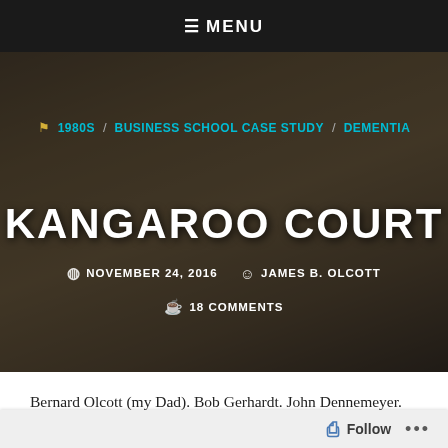≡ MENU
[Figure (photo): Hero image of a courtroom scene with animals (kangaroos, bears) wearing human clothing in legal roles, with a dark overlay]
1980S / BUSINESS SCHOOL CASE STUDY / DEMENTIA
KANGAROO COURT
NOVEMBER 24, 2016   JAMES B. OLCOTT   18 COMMENTS
Bernard Olcott (my Dad).  Bob Gerhardt.  John Dennemeyer.  Gerald Van Winter.  Ray Chinnery.  These are the founding
Follow ...